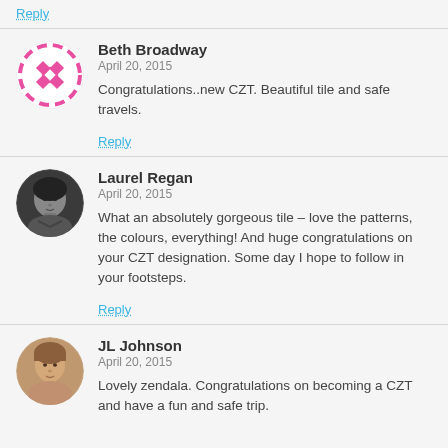Reply
Beth Broadway
April 20, 2015
Congratulations..new CZT. Beautiful tile and safe travels.
Reply
Laurel Regan
April 20, 2015
What an absolutely gorgeous tile – love the patterns, the colours, everything! And huge congratulations on your CZT designation. Some day I hope to follow in your footsteps.
Reply
JL Johnson
April 20, 2015
Lovely zendala. Congratulations on becoming a CZT and have a fun and safe trip.